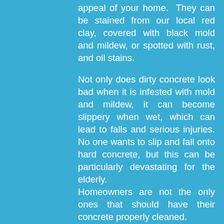appeal of your home.  They can be stained from our local red clay, covered with black mold and mildew, or spotted with rust, and oil stains.
Not only does dirty concrete look bad when it is infested with mold and mildew, it can become slippery when wet, which can lead to falls and serious injuries. No one wants to slip and fall onto hard concrete, but this can be particularly devastating for the elderly.
Homeowners are not the only ones that should have their concrete properly cleaned.
Restaurants, shopping centers, apartment and condo complexes should all have their concrete cleaned for the same reasons as residential homes.
In addition, the front entrance is